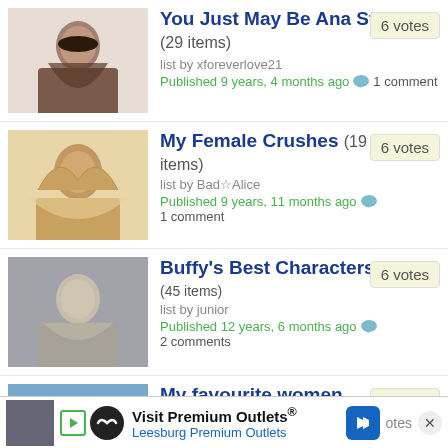You Just May Be Ana Steele (29 items) list by xforeverlove21 Published 9 years, 4 months ago 1 comment — 6 votes
My Female Crushes (19 items) list by Bad☆Alice Published 9 years, 11 months ago 1 comment — 6 votes
Buffy's Best Characters (45 items) list by junior Published 12 years, 6 months ago 2 comments — 6 votes
My favourite women (106 items) list by Maudea96 Published 3 months, 2 weeks ago — 5 votes
Visit Premium Outlets® Leesburg Premium Outlets